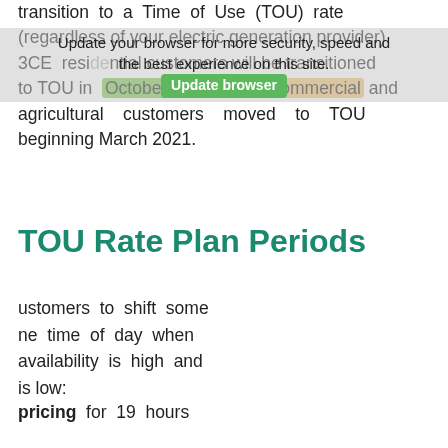transition to a Time of Use (TOU) rate (regardless of your electric generation provider). 3CE residential customers will be transitioned to TOU in October 2021, while commercial and agricultural customers moved to TOU beginning March 2021.
Update your browser for more security, speed and the best experience on this site. Update browser
TOU Rate Plan Periods
customers to shift some the time of day when availability is high and is low:
pricing for 19 hours